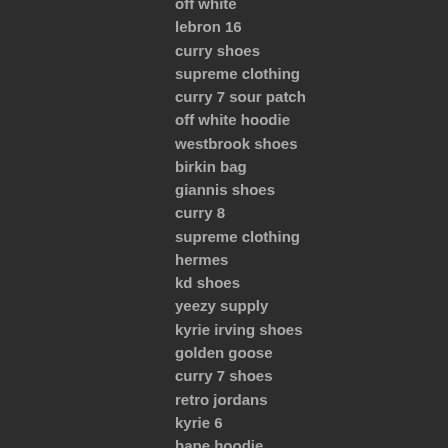off white
lebron 16
curry shoes
supreme clothing
curry 7 sour patch
off white hoodie
westbrook shoes
birkin bag
giannis shoes
curry 8
supreme clothing
hermes
kd shoes
yeezy supply
kyrie irving shoes
golden goose
curry 7 shoes
retro jordans
kyrie 6
bape hoodie
jordan shoes
kyrie 5 shoes
supreme clothing
jordan shoes
chrome hearts outlet
kd 12